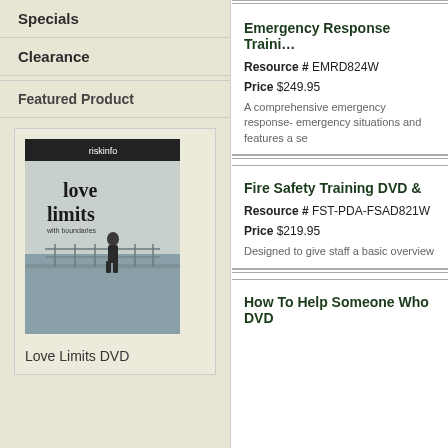Specials
Clearance
Featured Product
[Figure (photo): Book/DVD cover for 'Love Limits' showing a person on a pier with water in background]
Love Limits DVD
Emergency Response Training
Resource # EMRD824W
Price $249.95
A comprehensive emergency response- emergency situations and features a se...
Fire Safety Training DVD &
Resource # FST-PDA-FSAD821W
Price $219.95
Designed to give staff a basic overview...
How To Help Someone Who... DVD